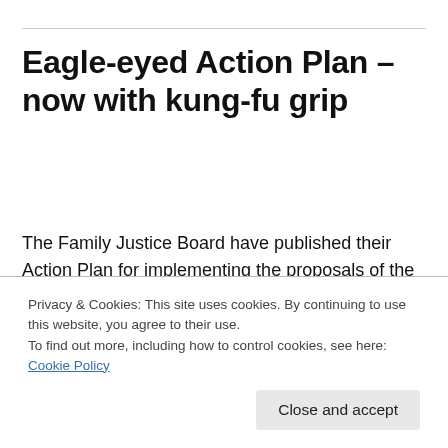Eagle-eyed Action Plan – now with kung-fu grip
The Family Justice Board have published their Action Plan for implementing the proposals of the Family Justice Review. It is a scorching, searing rollercoaster (TM)  of an Action Plan, blending as it does dizzying arrays of key
Privacy & Cookies: This site uses cookies. By continuing to use this website, you agree to their use.
To find out more, including how to control cookies, see here: Cookie Policy
Close and accept